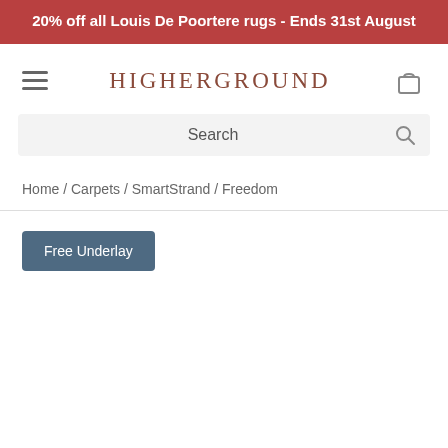20% off all Louis De Poortere rugs - Ends 31st August
HIGHERGROUND
Search
Home / Carpets / SmartStrand / Freedom
Free Underlay